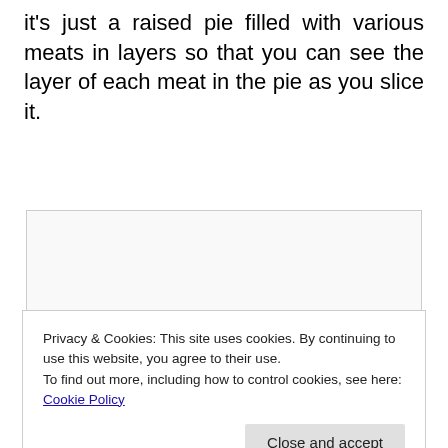it's just a raised pie filled with various meats in layers so that you can see the layer of each meat in the pie as you slice it.
[Figure (other): A rectangular image placeholder with light grey background and border, showing a blank/empty image area.]
Privacy & Cookies: This site uses cookies. By continuing to use this website, you agree to their use.
To find out more, including how to control cookies, see here: Cookie Policy
[Close and accept button]